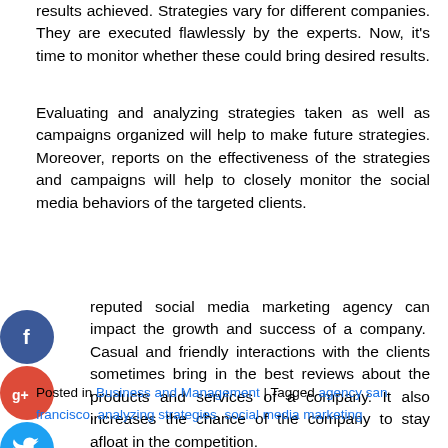results achieved. Strategies vary for different companies. They are executed flawlessly by the experts. Now, it's time to monitor whether these could bring desired results.
Evaluating and analyzing strategies taken as well as campaigns organized will help to make future strategies. Moreover, reports on the effectiveness of the strategies and campaigns will help to closely monitor the social media behaviors of the targeted clients.
A reputed social media marketing agency can impact the growth and success of a company. Casual and friendly interactions with the clients sometimes bring in the best reviews about the products and services of a company. It also increases the chance of the company to stay afloat in the competition.
[Figure (illustration): Social media share icons: Facebook (blue circle with f), Google+ (red circle with g+), Twitter (blue circle with bird), Add/Plus (grey circle with +)]
Posted in Business and Management | Tagged agency san francisco, analyzing strategies, social media marketing